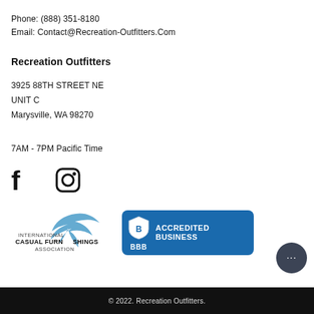Phone: (888) 351-8180
Email: Contact@Recreation-Outfitters.Com
Recreation Outfitters
3925 88TH STREET NE
UNIT C
Marysville, WA 98270
7AM - 7PM Pacific Time
[Figure (logo): Facebook and Instagram social media icons]
[Figure (logo): International Casual Furnishings Association logo]
[Figure (logo): BBB Accredited Business badge]
[Figure (other): Chat support bubble with ellipsis]
© 2022. Recreation Outfitters.